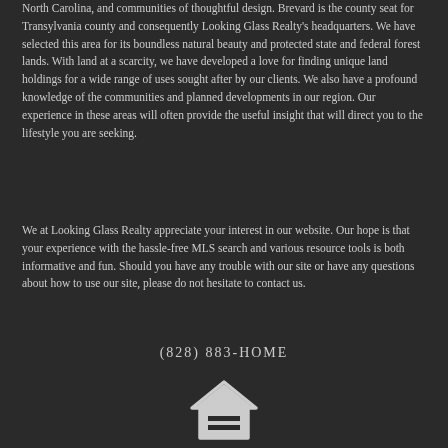North Carolina, and communities of thoughtful design. Brevard is the county seat for Transylvania county and consequently Looking Glass Realty's headquarters. We have selected this area for its boundless natural beauty and protected state and federal forest lands. With land at a scarcity, we have developed a love for finding unique land holdings for a wide range of uses sought after by our clients. We also have a profound knowledge of the communities and planned developments in our region. Our experience in these areas will often provide the useful insight that will direct you to the lifestyle you are seeking.
We at Looking Glass Realty appreciate your interest in our website. Our hope is that your experience with the hassle-free MLS search and various resource tools is both informative and fun. Should you have any trouble with our site or have any questions about how to use our site, please do not hesitate to contact us.
(828) 883-HOME
[Figure (logo): Equal Housing Opportunity logo — house outline with an equals sign, text EQUAL HOUSING OPPORTUNITY below]